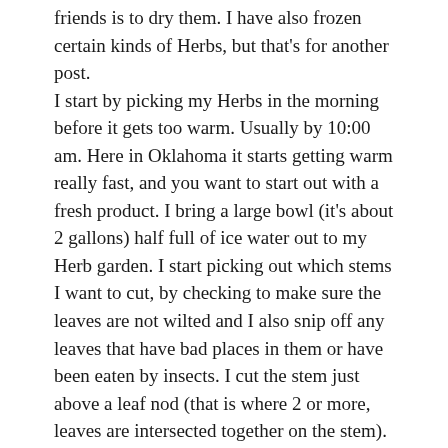friends is to dry them. I have also frozen certain kinds of Herbs, but that's for another post. I start by picking my Herbs in the morning before it gets too warm. Usually by 10:00 am. Here in Oklahoma it starts getting warm really fast, and you want to start out with a fresh product. I bring a large bowl (it's about 2 gallons) half full of ice water out to my Herb garden. I start picking out which stems I want to cut, by checking to make sure the leaves are not wilted and I also snip off any leaves that have bad places in them or have been eaten by insects. I cut the stem just above a leaf nod (that is where 2 or more, leaves are intersected together on the stem). And about 1 – 3 inches from the ground (depending on how big the plant is) for example Oregano is much taller than Thyme, so I leave about 2-3 inches of stem still on the plant to the ground. For